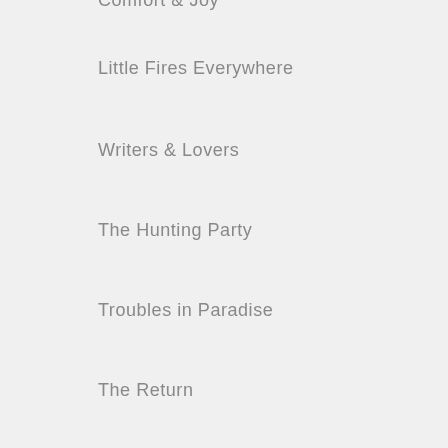Comfort & Joy
Little Fires Everywhere
Writers & Lovers
The Hunting Party
Troubles in Paradise
The Return
The Southern Side of Paradise
The Secret to Southern Charm
Slightly South of Simple
All the Single Ladies
The Rumor
Feels Like Falling
Big Summer
The Last Original Wife